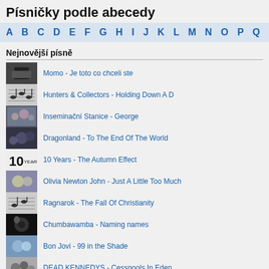Písničky podle abecedy
A B C D E F G H I J K L M N O P Q R S T U
Nejnovější písně
Momo - Je toto co chceli ste
Hunters & Collectors - Holding Down A D
Inseminační Stanice - George
Dragonland - To The End Of The World
10 Years - The Autumn Effect
Olivia Newton John - Just A Little Too Much
Ragnarok - The Fall Of Christianity
Chumbawamba - Naming names
Bon Jovi - 99 in the Shade
DEAD KENNEDYS - Cesspools In Eden